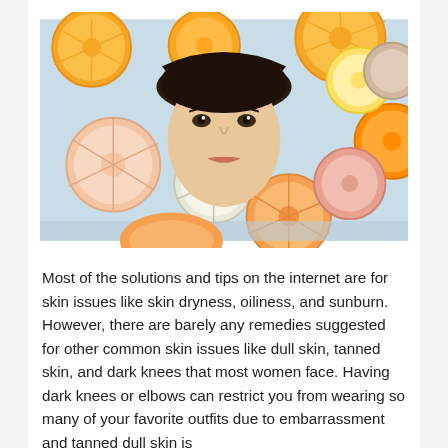[Figure (photo): A young woman's face surrounded by many citrus fruit slices (oranges, grapefruits, lemons) floating in water, photographed from above.]
Most of the solutions and tips on the internet are for skin issues like skin dryness, oiliness, and sunburn. However, there are barely any remedies suggested for other common skin issues like dull skin, tanned skin, and dark knees that most women face. Having dark knees or elbows can restrict you from wearing so many of your favorite outfits due to embarrassment and tanned dull skin is